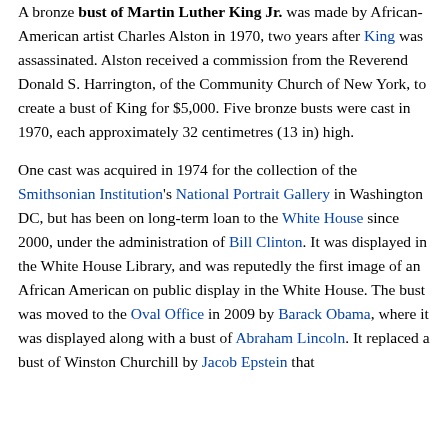A bronze bust of Martin Luther King Jr. was made by African-American artist Charles Alston in 1970, two years after King was assassinated. Alston received a commission from the Reverend Donald S. Harrington, of the Community Church of New York, to create a bust of King for $5,000. Five bronze busts were cast in 1970, each approximately 32 centimetres (13 in) high.
One cast was acquired in 1974 for the collection of the Smithsonian Institution's National Portrait Gallery in Washington DC, but has been on long-term loan to the White House since 2000, under the administration of Bill Clinton. It was displayed in the White House Library, and was reputedly the first image of an African American on public display in the White House. The bust was moved to the Oval Office in 2009 by Barack Obama, where it was displayed along with a bust of Abraham Lincoln. It replaced a bust of Winston Churchill by Jacob Epstein that